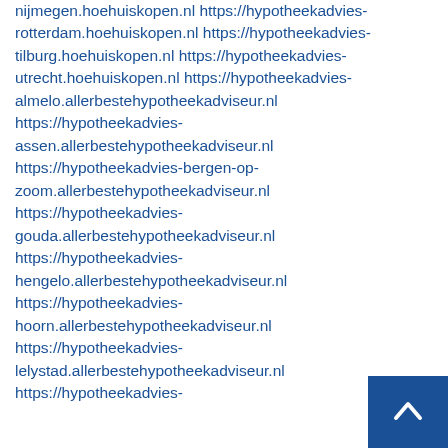nijmegen.hoehuiskopen.nl https://hypotheekadvies-rotterdam.hoehuiskopen.nl https://hypotheekadvies-tilburg.hoehuiskopen.nl https://hypotheekadvies-utrecht.hoehuiskopen.nl https://hypotheekadvies-almelo.allerbestehypotheekadviseur.nl https://hypotheekadvies-assen.allerbestehypotheekadviseur.nl https://hypotheekadvies-bergen-op-zoom.allerbestehypotheekadviseur.nl https://hypotheekadvies-gouda.allerbestehypotheekadviseur.nl https://hypotheekadvies-hengelo.allerbestehypotheekadviseur.nl https://hypotheekadvies-hoorn.allerbestehypotheekadviseur.nl https://hypotheekadvies-lelystad.allerbestehypotheekadviseur.nl https://hypotheekadvies-